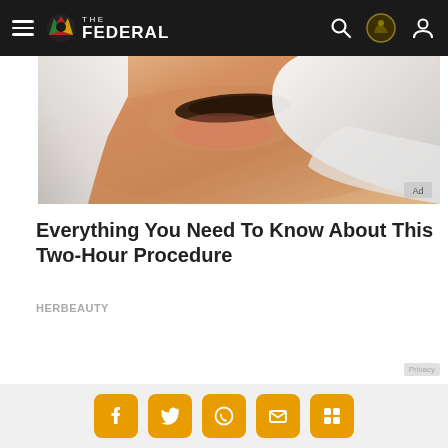THE FEDERAL
[Figure (photo): Close-up photo of eyebrow treatment procedure with gloved hands working near the eye area, skin tone background. Ad badge in bottom-right corner.]
Everything You Need To Know About This Two-Hour Procedure
HERBEAUTY
Social share icons: Facebook, Twitter, WhatsApp, Email, More